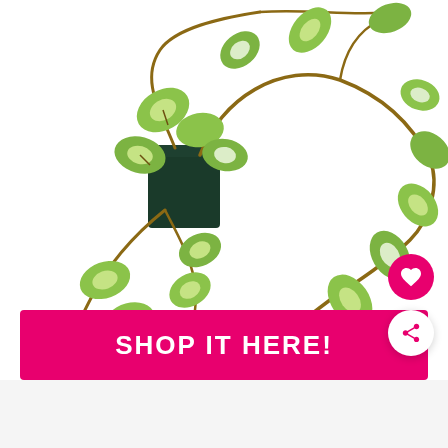[Figure (photo): A pothos (Epipremnum aureum) plant in a small dark green square pot with long trailing vines and heart-shaped green and cream variegated leaves cascading down on a white background.]
SHOP IT HERE!